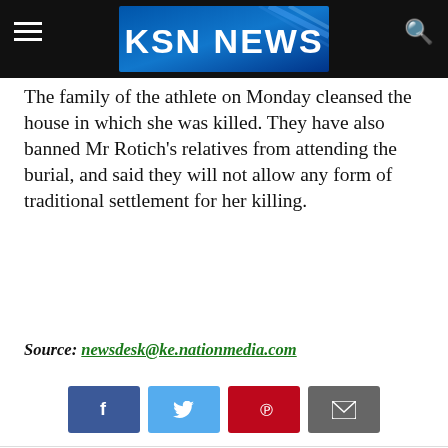KSN NEWS
The family of the athlete on Monday cleansed the house in which she was killed. They have also banned Mr Rotich's relatives from attending the burial, and said they will not allow any form of traditional settlement for her killing.
Source: newsdesk@ke.nationmedia.com
[Figure (infographic): Social sharing buttons: Facebook (blue), Twitter (light blue), Pinterest (red), Email (gray)]
ED TOPICS: #AGNES TIROP #JEREMIAH SAWE #NEWS
[Figure (infographic): Advertisement banner: Save Up to 65% Leesburg Premium Outlets]